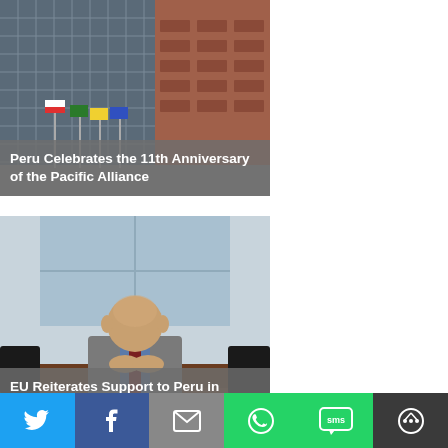[Figure (photo): Photo of a modern building exterior with flagpoles bearing various national flags in front, reddish-brown brick facade visible]
Peru Celebrates the 11th Anniversary of the Pacific Alliance
[Figure (photo): Photo of an older bald man in a grey suit and dark tie sitting at a conference table with hands folded]
EU Reiterates Support to Peru in Fighting Drug Trafficking